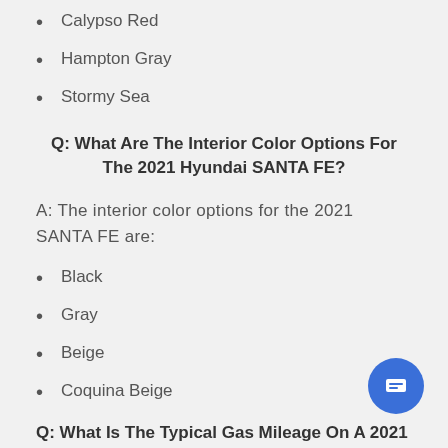Calypso Red
Hampton Gray
Stormy Sea
Q: What Are The Interior Color Options For The 2021 Hyundai SANTA FE?
A: The interior color options for the 2021 SANTA FE are:
Black
Gray
Beige
Coquina Beige
Q: What Is The Typical Gas Mileage On A 2021